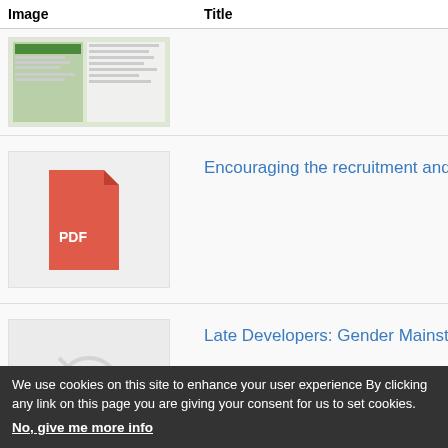| Image | Title |
| --- | --- |
| [thumbnail image] |  |
| [PDF icon] | Encouraging the recruitment and r... |
| [no image] | Late Developers: Gender Mainstr... |
| [no image] | Structural Transformation to Achie... |
We use cookies on this site to enhance your user experience By clicking any link on this page you are giving your consent for us to set cookies. No, give me more info